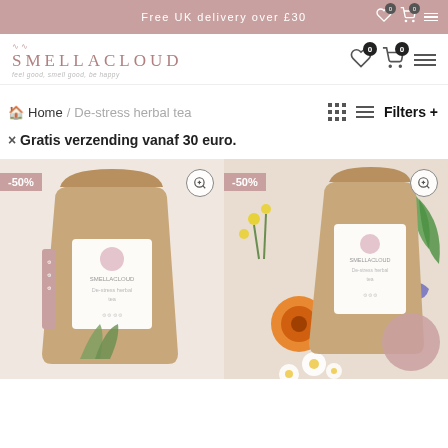Free UK delivery over £30
[Figure (logo): Smellacloud logo with tagline 'feel good, smell good, be happy']
Home / De-stress herbal tea
Filters +
× Gratis verzending vanaf 30 euro.
[Figure (photo): Product 1: Kraft paper tea bag with -50% badge on left side]
[Figure (photo): Product 2: Kraft paper tea bag with herbs and flowers, -50% badge on left side]